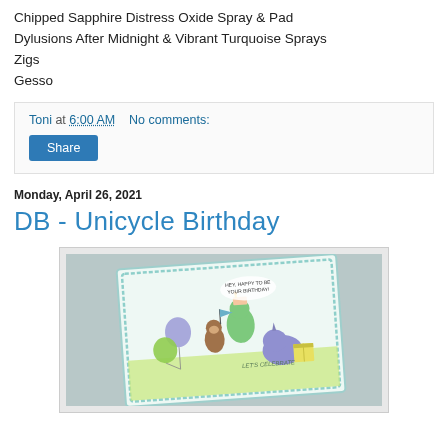Chipped Sapphire Distress Oxide Spray & Pad
Dylusions After Midnight & Vibrant Turquoise Sprays
Zigs
Gesso
Toni at 6:00 AM    No comments:
Share
Monday, April 26, 2021
DB - Unicycle Birthday
[Figure (photo): A handmade birthday card featuring cartoon animals including a monkey holding a flag, a dinosaur with a birthday cake, a rhino with balloons and a present, on a green and white background with teal border.]